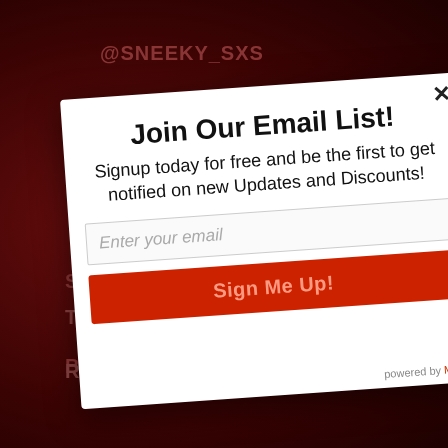@SNEEKY_SXS
951-217-5070
S…
BL…
Term…
Refund policy
Join Our Email List!
Signup today for free and be the first to get notified on new Updates and Discounts!
Enter your email
Sign Me Up!
powered by Mai…